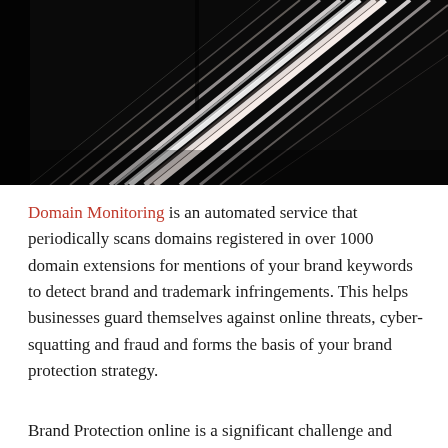[Figure (photo): Dark photo with diagonal streaks of white and light pink light trails against a black background, resembling long-exposure car light trails or fiber optic strands.]
Domain Monitoring is an automated service that periodically scans domains registered in over 1000 domain extensions for mentions of your brand keywords to detect brand and trademark infringements. This helps businesses guard themselves against online threats, cyber-squatting and fraud and forms the basis of your brand protection strategy.
Brand Protection online is a significant challenge and